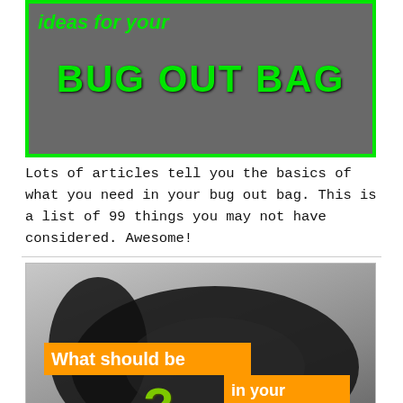[Figure (illustration): Green-bordered image with dark background showing text 'ideas for your BUG OUT BAG' in bright green on a dark overlay of survival gear]
Lots of articles tell you the basics of what you need in your bug out bag. This is a list of 99 things you may not have considered. Awesome!
[Figure (photo): Photo of a black backpack open on a floor with orange banner overlays reading 'What should be', 'in your', 'Bug Out Bag?' with a green question mark, and GraywolfSurvival.com badge]
A bug out bag is critical but what do you put in it? When considering disaster preparedness, keep in mind that what survival gear and emergency supplies you add to your bug out bag and then pack for your survival kit can mean the